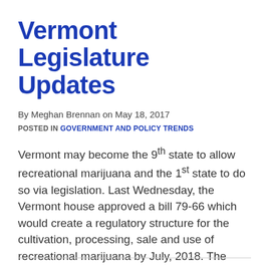Vermont Legislature Updates
By Meghan Brennan on May 18, 2017
POSTED IN GOVERNMENT AND POLICY TRENDS
Vermont may become the 9th state to allow recreational marijuana and the 1st state to do so via legislation. Last Wednesday, the Vermont house approved a bill 79-66 which would create a regulatory structure for the cultivation, processing, sale and use of recreational marijuana by July, 2018. The Vermont Senate previously passed the...